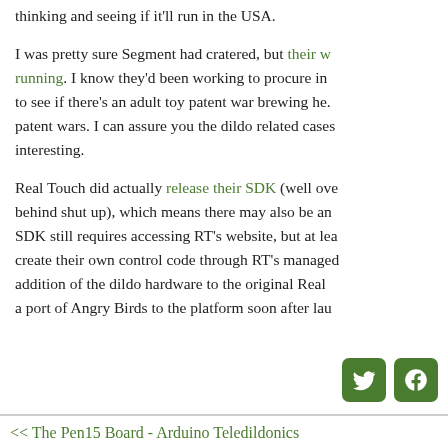thinking and seeing if it'll run in the USA.
I was pretty sure Segment had cratered, but their website is still running. I know they'd been working to procure in... to see if there's an adult toy patent war brewing he... patent wars. I can assure you the dildo related case... interesting.
Real Touch did actually release their SDK (well ov... behind shut up), which means there may also be a... SDK still requires accessing RT's website, but at le... create their own control code through RT's manage... addition of the dildo hardware to the original Real... a port of Angry Birds to the platform soon after la...
[Figure (other): Twitter and Facebook social media icon buttons in green rounded squares]
<< The Pen15 Board - Arduino Teledildonics